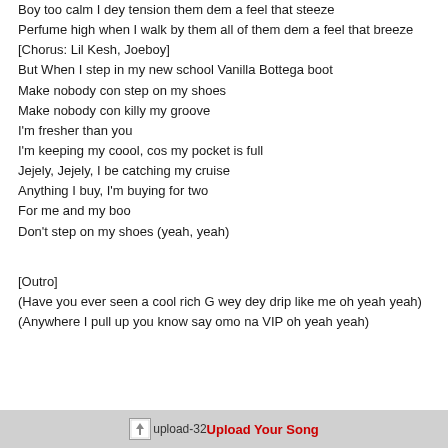Boy too calm  I dey tension them dem a feel that steeze
Perfume high when  I walk by them all of them dem a feel that breeze
[Chorus:  Lil  Kesh, Joeboy]
But When  I step in my new school Vanilla  Bottega boot
Make nobody con step on my shoes
Make nobody con killy my groove
I'm fresher than you
I'm keeping my coool, cos my pocket is full
Jejely, Jejely,  I be catching my cruise
Anything  I buy,  I'm buying for two
For me and my boo
Don't step on my shoes (yeah, yeah)

[Outro]
(Have you ever seen a cool rich G wey dey drip like me oh yeah yeah)
(Anywhere  I pull up you know say omo na VIP oh yeah yeah)
[Figure (other): Upload Your Song banner with upload icon image and red text]